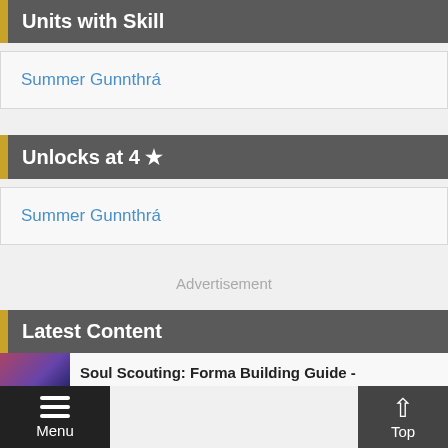Units with Skill
Summer Gunnthrá
Unlocks at 4 ★
Summer Gunnthrá
Advertisement
Latest Content
Soul Scouting: Forma Building Guide -
Menu  Top